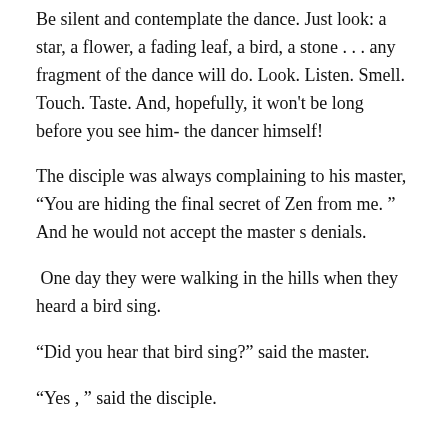Be silent and contemplate the dance. Just look: a star, a flower, a fading leaf, a bird, a stone . . . any fragment of the dance will do. Look. Listen. Smell. Touch. Taste. And, hopefully, it won't be long before you see him- the dancer himself!
The disciple was always complaining to his master, “You are hiding the final secret of Zen from me. ” And he would not accept the master s denials.
One day they were walking in the hills when they heard a bird sing.
“Did you hear that bird sing?” said the master.
“Yes , ” said the disciple.